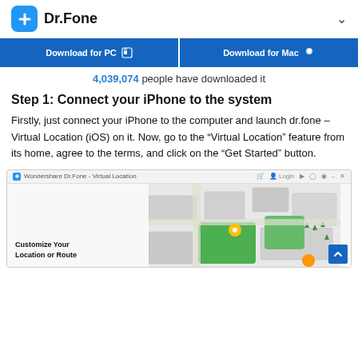Dr.Fone
[Figure (screenshot): Two blue download buttons for PC and Mac, partially visible at the top]
4,039,074 people have downloaded it
Step 1: Connect your iPhone to the system
Firstly, just connect your iPhone to the computer and launch dr.fone – Virtual Location (iOS) on it. Now, go to the “Virtual Location” feature from its home, agree to the terms, and click on the “Get Started” button.
[Figure (screenshot): Wondershare Dr.Fone - Virtual Location application window showing a 3D map with green areas and a location pin, with text 'Customize Your Location or Route']